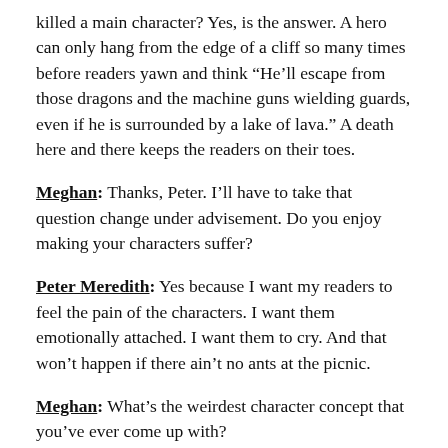killed a main character? Yes, is the answer. A hero can only hang from the edge of a cliff so many times before readers yawn and think “He’ll escape from those dragons and the machine guns wielding guards, even if he is surrounded by a lake of lava.” A death here and there keeps the readers on their toes.
Meghan: Thanks, Peter. I’ll have to take that question change under advisement. Do you enjoy making your characters suffer?
Peter Meredith: Yes because I want my readers to feel the pain of the characters. I want them emotionally attached. I want them to cry. And that won’t happen if there ain’t no ants at the picnic.
Meghan: What’s the weirdest character concept that you’ve ever come up with?